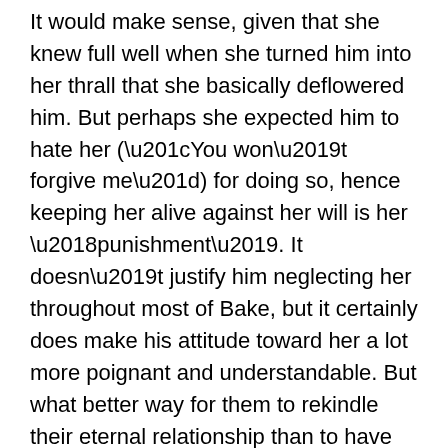It would make sense, given that she knew full well when she turned him into her thrall that she basically deflowered him. But perhaps she expected him to hate her (“You won’t forgive me”) for doing so, hence keeping her alive against her will is her ‘punishment’. It doesn’t justify him neglecting her throughout most of Bake, but it certainly does make his attitude toward her a lot more poignant and understandable. But what better way for them to rekindle their eternal relationship than to have them in a purification scenario, now that they are both devirginalized lovers sharing and trying to heal each other’s wounds for the rest of their days albeit having no clue how to have a relationship?